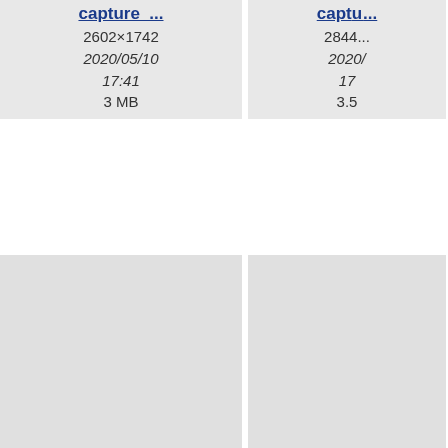[Figure (screenshot): File browser grid view showing image thumbnails named capture_... with metadata including dimensions, dates, and file sizes. Left portion of page is white/empty. Right side shows a 2-column grid of file cards partially cropped.]
capture_...
2602×1742
2020/05/10
17:41
3 MB
capt...
2844...
2020/
17
3.5
capture_...
1446×1214
2020/05/10
18:17
274.4 KB
captu...
1440
2020/
18:
173.
capture_...
captu...